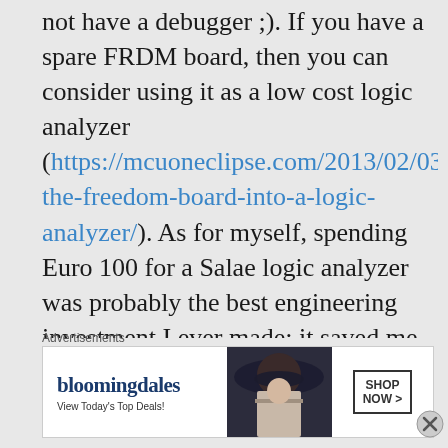not have a debugger ;). If you have a spare FRDM board, then you can consider using it as a low cost logic analyzer (https://mcuoneclipse.com/2013/02/03/turning-the-freedom-board-into-a-logic-analyzer/). As for myself, spending Euro 100 for a Salae logic analyzer was probably the best engineering investment I ever made: it saved me
Advertisements
[Figure (other): Bloomingdale's advertisement banner with logo, tagline 'View Today's Top Deals!', a photo of a woman with a wide-brim hat, and a 'SHOP NOW >' button]